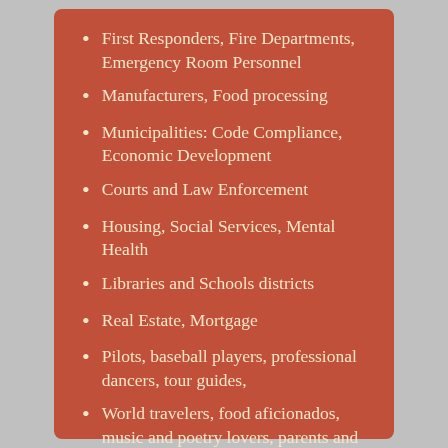First Responders, Fire Departments, Emergency Room Personnel
Manufacturers, Food processing
Municipalities: Code Compliance, Economic Development
Courts and Law Enforcement
Housing, Social Services, Mental Health
Libraries and Schools districts
Real Estate, Mortgage
Pilots, baseball players, professional dancers, tour guides,
World travelers, food aficionados, music and poetry lovers, parents and more